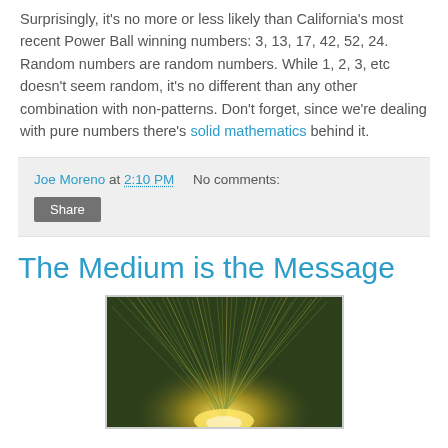Surprisingly, it's no more or less likely than California's most recent Power Ball winning numbers: 3, 13, 17, 42, 52, 24. Random numbers are random numbers. While 1, 2, 3, etc doesn't seem random, it's no different than any other combination with non-patterns. Don't forget, since we're dealing with pure numbers there's solid mathematics behind it.
Joe Moreno at 2:10 PM   No comments:
The Medium is the Message
[Figure (photo): Close-up photo of grass or plant fibers with a bright light glowing from below, green and yellow tones]